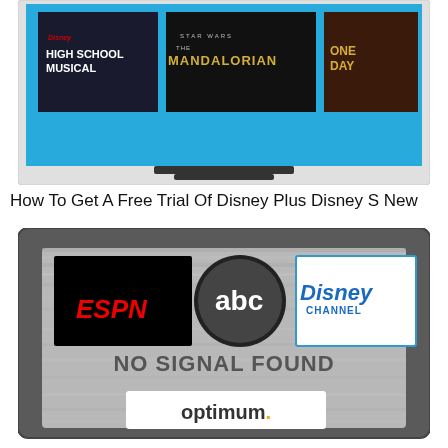[Figure (screenshot): A TV screen showing Disney+ streaming content including High School Musical, The Mandalorian (Star Wars), and One Day]
How To Get A Free Trial Of Disney Plus Disney S New
[Figure (illustration): A TV screen with gray 'no signal' background showing ESPN, abc, and Disney Channel logos, text 'NO SIGNAL FOUND', and Optimum logo below]